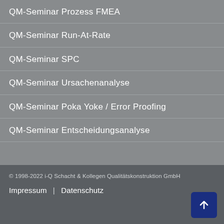QM-Seminar Prozess FMEA
QM-Seminar Run-At-Rate
QM-Seminar SPC
QM-Seminar Ursachenanalyse
QM-Seminar Poka Yoke / Error Proofing
QM-Seminar Entscheidungsanalyse
© 1998-2022 i-Q Schacht & Kollegen Qualitätskonstruktion GmbH
Impressum  |  Datenschutz